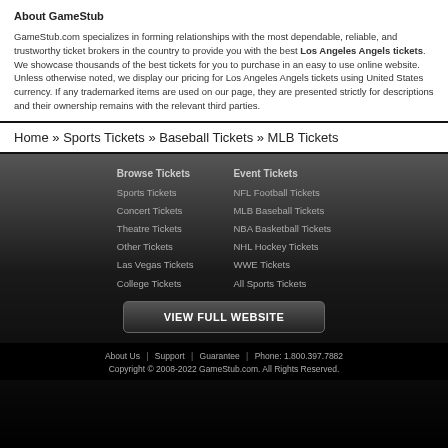About GameStub
GameStub.com specializes in forming relationships with the most dependable, reliable, and trustworthy ticket brokers in the country to provide you with the best Los Angeles Angels tickets. We showcase thousands of the best tickets for you to purchase in an easy to use online website. Unless otherwise noted, we display our pricing for Los Angeles Angels tickets using United States currency. If any trademarked items are used on our page, they are presented strictly for descriptions and their ownership remains with the relevant third parties.
Home » Sports Tickets » Baseball Tickets » MLB Tickets
Browse Tickets
Sports Tickets
Concert Tickets
Theatre Tickets
Other Tickets
Las Vegas Tickets
College Tickets
Event Tickets
NFL Football Tickets
MLB Baseball Tickets
NBA Basketball Tickets
NHL Hockey Tickets
WWE Tickets
All Sports Tickets
VIEW FULL WEBSITE
About Us | Support | Guarantee | Phone: 1.800.397.7882 Copyright © 2008-2022 GameStub.com. All Rights Reserved.